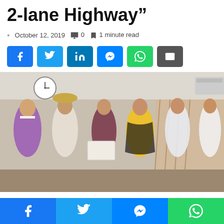2-lane Highway”
October 12, 2019  💬 0  🔖 1 minute read
[Figure (other): Social media share buttons: Facebook, Twitter, LinkedIn, Messenger, WhatsApp, Email]
[Figure (photo): Group of six people posing indoors, one person handing a document to another. A clock is visible on the wall in the background. People are wearing traditional and formal attire.]
[Figure (other): Bottom share bar with Facebook, Twitter, Messenger, and WhatsApp buttons]